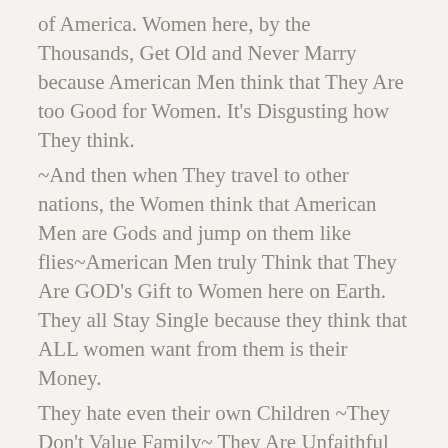of America. Women here, by the Thousands, Get Old and Never Marry because American Men think that They Are too Good for Women. It's Disgusting how They think.
~And then when They travel to other nations, the Women think that American Men are Gods and jump on them like flies~American Men truly Think that They Are GOD's Gift to Women here on Earth. They all Stay Single because they think that ALL women want from them is their Money.
They hate even their own Children ~They Don't Value Family~ They Are Unfaithful as hell ~
They Don't Have Respect for Women~ it's terrible here in the U.S. the way Men treat women.
~But these American women are Just as Bad as the Men~ Sometimes I think they are Demonized.
All people Care About here in the U.S. is Just Material